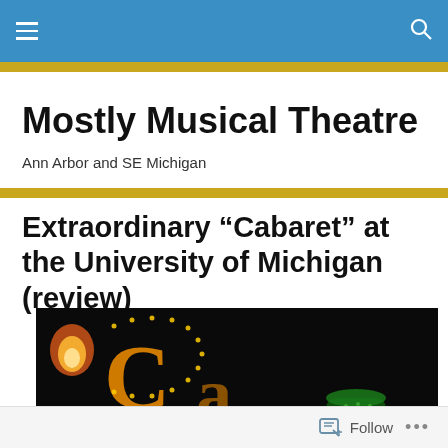Mostly Musical Theatre — navigation bar
Mostly Musical Theatre
Ann Arbor and SE Michigan
Extraordinary “Cabaret” at the University of Michigan (review)
[Figure (photo): Dark promotional image for Cabaret musical showing illuminated decorative letters and a bowler hat]
Follow